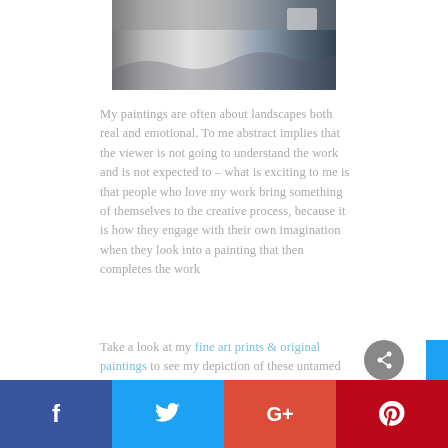[Figure (photo): Partial photo of knitted or textile items in grey, white and dark blue/navy tones, cropped at top of page]
My paintings are often about landscapes both real and emotional. To me abstract implies that the viewer is not going to understand the work and is not expected to – what is exciting to me is that people who love my work bring something of themselves to the creative process, because it is how they engage with their own imagination when they look into a painting that then completes the work
Take a look at my fine art prints & original paintings to see my depiction of these untamed landscapes.
[Figure (infographic): Social sharing bar with four buttons: Facebook (f), Twitter (bird), Google+ (G+), Pinterest (P)]